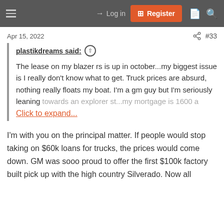Log in  Register
Apr 15, 2022  #33
plastikdreams said: ↑

The lease on my blazer rs is up in october...my biggest issue is I really don't know what to get. Truck prices are absurd, nothing really floats my boat. I'm a gm guy but I'm seriously leaning towards an explorer st...my mortgage is 1600 a
Click to expand...
I'm with you on the principal matter. If people would stop taking on $60k loans for trucks, the prices would come down. GM was sooo proud to offer the first $100k factory built pick up with the high country Silverado. Now all